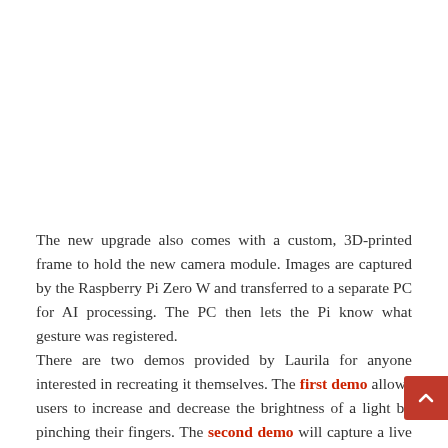The new upgrade also comes with a custom, 3D-printed frame to hold the new camera module. Images are captured by the Raspberry Pi Zero W and transferred to a separate PC for AI processing. The PC then lets the Pi know what gesture was registered.
There are two demos provided by Laurila for anyone interested in recreating it themselves. The first demo allows users to increase and decrease the brightness of a light by pinching their fingers. The second demo will capture a live video from the camera, transfer it to the PC to process it for hand gestures and then send it back to the...